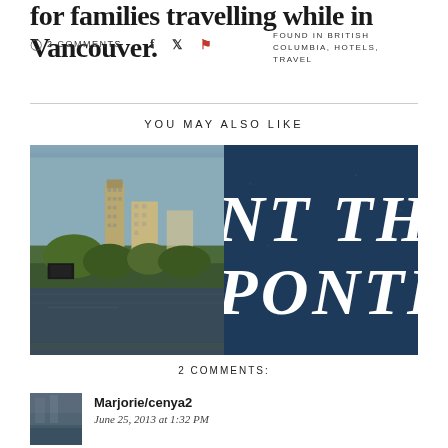for families travelling while in Vancouver.
2 COMMENTS
FOUND IN BRITISH COLUMBIA, HOTELS, TRAVEL
YOU MAY ALSO LIKE
[Figure (photo): Left: city skyline with tall buildings near a river with trees in foreground. Right: dark navy background with large white italic text reading 'NT THE PONTES' (partially visible, part of a larger text/contest image).]
2 COMMENTS:
Marjorie/cenya2
June 25, 2013 at 1:32 PM